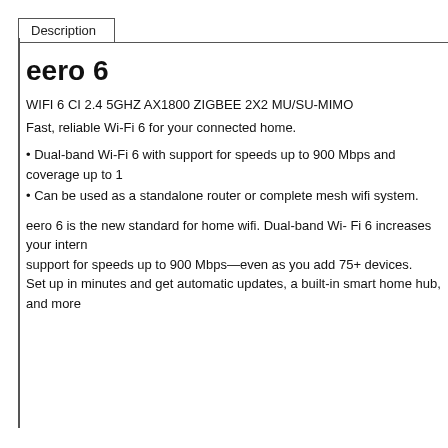Description
eero 6
WIFI 6 CI 2.4 5GHZ AX1800 ZIGBEE 2X2 MU/SU-MIMO
Fast, reliable Wi-Fi 6 for your connected home.
Dual-band Wi-Fi 6 with support for speeds up to 900 Mbps and coverage up to 1
Can be used as a standalone router or complete mesh wifi system.
eero 6 is the new standard for home wifi. Dual-band Wi- Fi 6 increases your intern support for speeds up to 900 Mbps—even as you add 75+ devices. Set up in minutes and get automatic updates, a built-in smart home hub, and more